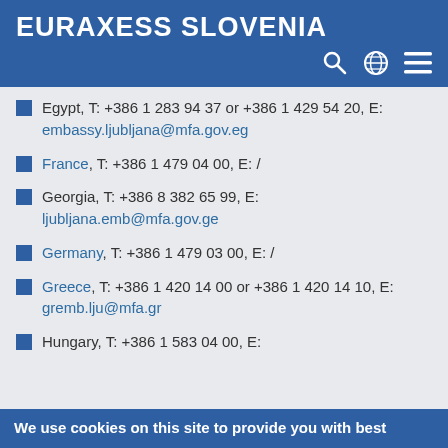EURAXESS SLOVENIA
Egypt, T: +386 1 283 94 37 or +386 1 429 54 20, E: embassy.ljubljana@mfa.gov.eg
France, T: +386 1 479 04 00, E: /
Georgia, T: +386 8 382 65 99, E: ljubljana.emb@mfa.gov.ge
Germany, T: +386 1 479 03 00, E: /
Greece, T: +386 1 420 14 00 or +386 1 420 14 10, E: gremb.lju@mfa.gr
Hungary, T: +386 1 583 04 00, E:
We use cookies on this site to provide you with best